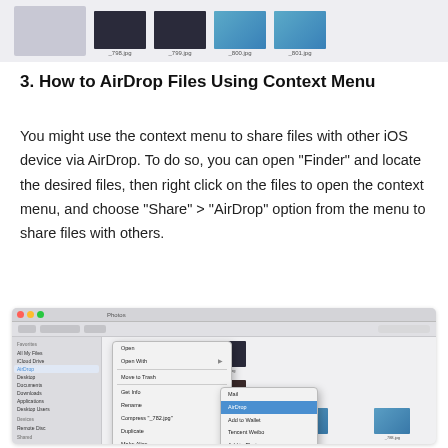[Figure (screenshot): Top portion of a Mac Finder window showing image thumbnails with filenames like _798.jpg, _799.jpg, _800.jpg, _801.jpg]
3. How to AirDrop Files Using Context Menu
You might use the context menu to share files with other iOS device via AirDrop. To do so, you can open "Finder" and locate the desired files, then right click on the files to open the context menu, and choose "Share" > "AirDrop" option from the menu to share files with others.
[Figure (screenshot): Mac Finder window showing a right-click context menu with Share submenu expanded, highlighting the AirDrop option in blue]